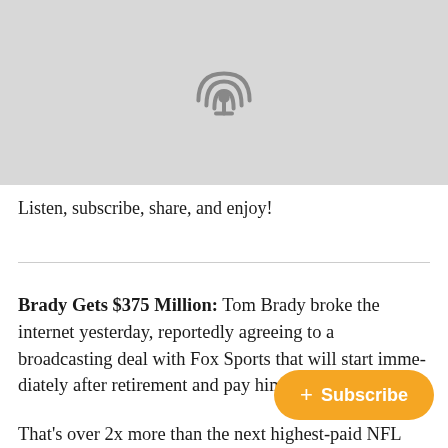[Figure (illustration): Podcast icon (microphone with radio waves) centered on a light gray background]
Listen, subscribe, share, and enjoy!
Brady Gets $375 Million: Tom Brady broke the internet yesterday, reportedly agreeing to a broadcasting deal with Fox Sports that will start immediately after retirement and pay him $375 million
That's over 2x more than the next highest-paid NFL